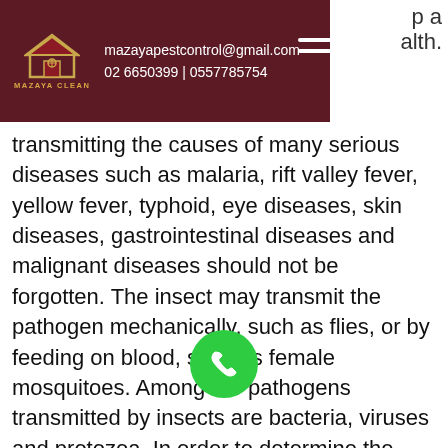mazayapestcontrol@gmail.com | 02 6650399 | 0557785754
transmitting the causes of many serious diseases such as malaria, rift valley fever, yellow fever, typhoid, eye diseases, skin diseases, gastrointestinal diseases and malignant diseases should not be forgotten. The insect may transmit the pathogen mechanically, such as flies, or by feeding on blood, such as female mosquitoes. Among the pathogens transmitted by insects are bacteria, viruses and protozoa. In order to determine the method and method of successful control of health pests, including insect control, it is necessary to understand the relationship between the insect and the organism